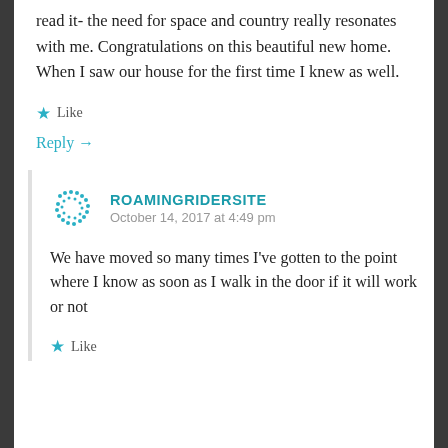read it- the need for space and country really resonates with me. Congratulations on this beautiful new home. When I saw our house for the first time I knew as well.
Like
Reply →
ROAMINGRIDERSITE
October 14, 2017 at 4:49 pm
We have moved so many times I've gotten to the point where I know as soon as I walk in the door if it will work or not
Like